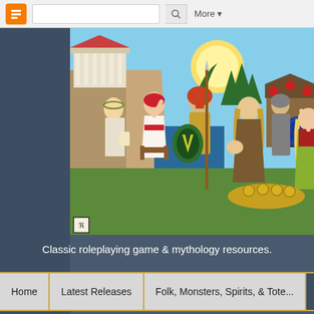Blogger navigation bar with search and More menu
[Figure (illustration): Fantasy illustration showing ancient Greek and Norse characters: a Greek philosopher writing, a woman in a red headscarf seated on a throne, a Spartan warrior with helmet and green shield and spear, a long-haired Norse man gesturing with open hand, a Norse warrior with round shield, and a Viking woman in yellow-green dress, set against a background with a Greek temple, rocky cliffs, sea, pine trees, and a Norse longhouse. Banner image for a classic roleplaying game and mythology blog.]
Classic roleplaying game & mythology resources.
Home | Latest Releases | Folk, Monsters, Spirits, & Tote...
Wednesday, September 22, 2021